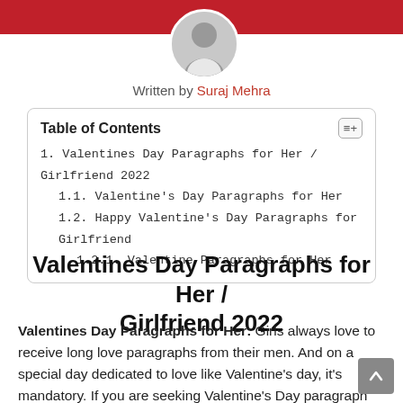[Figure (photo): Circular avatar photo of author Suraj Mehra on a red banner background]
Written by Suraj Mehra
| 1. Valentines Day Paragraphs for Her / Girlfriend 2022 |
| 1.1. Valentine's Day Paragraphs for Her |
| 1.2. Happy Valentine's Day Paragraphs for Girlfriend |
| 1.2.1. Valentine Paragraphs for Her |
Valentines Day Paragraphs for Her / Girlfriend 2022
Valentines Day Paragraphs for Her: Girls always love to receive long love paragraphs from their men. And on a special day dedicated to love like Valentine's day, it's mandatory. If you are seeking Valentine's Day paragraph for her to send to your girlfriend or wife this Valentine's Day, then you are at the right...